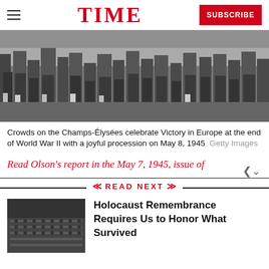TIME | SUBSCRIBE
[Figure (photo): Black and white photograph of crowds on the Champs-Élysées celebrating Victory in Europe, showing legs and lower bodies of a large crowd, May 8, 1945]
Crowds on the Champs-Élysées celebrate Victory in Europe at the end of World War II with a joyful procession on May 8, 1945   Getty Images
Read Olson's report in the May 7, 1945, issue of
READ NEXT
[Figure (photo): Black and white thumbnail photo of a large indoor gathering or event]
Holocaust Remembrance Requires Us to Honor What Survived